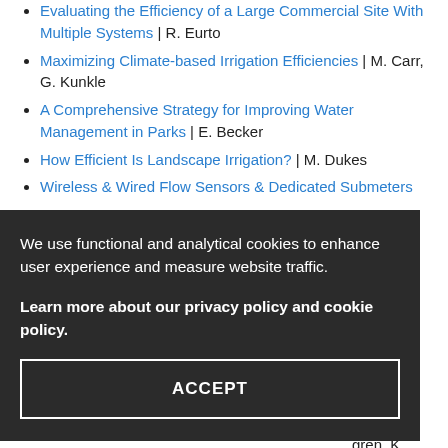Evaluating the Efficiency of a Large Commercial Site With Multiple Systems | R. Eurto
Maximizing Climate-based Irrigation Efficiencies | M. Carr, G. Kunkle
A Comprehensive Strategy for Improving Water Management in Parks | E. Becker
How Efficient Is Landscape Irrigation? | M. Dukes
Wireless & Wired Flow Sensors & Dedicated Submeters
We use functional and analytical cookies to enhance user experience and measure website traffic.
Learn more about our privacy policy and cookie policy.
ACCEPT
ove
low
ascher
al Mall
Hutchins
gren, K.
Kopp